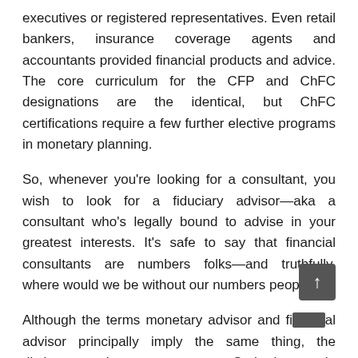executives or registered representatives. Even retail bankers, insurance coverage agents and accountants provided financial products and advice. The core curriculum for the CFP and ChFC designations are the identical, but ChFC certifications require a few further elective programs in monetary planning.
So, whenever you're looking for a consultant, you wish to look for a fiduciary advisor—aka a consultant who's legally bound to advise in your greatest interests. It's safe to say that financial consultants are numbers folks—and truthfully, where would we be without our numbers people?
Although the terms monetary advisor and financial advisor principally imply the same thing, the distinction is important to grasp. Gathering ample data concerning the